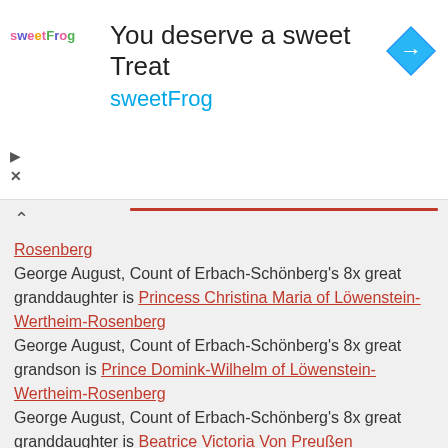[Figure (screenshot): SweetFrog advertisement banner with logo, tagline 'You deserve a sweet Treat', brand name 'sweetFrog', and a blue navigation arrow icon]
Rosenberg
George August, Count of Erbach-Schönberg's 8x great granddaughter is Princess Christina Maria of Löwenstein-Wertheim-Rosenberg
George August, Count of Erbach-Schönberg's 8x great grandson is Prince Domink-Wilhelm of Löwenstein-Wertheim-Rosenberg
George August, Count of Erbach-Schönberg's 8x great granddaughter is Beatrice Victoria Von Preußen